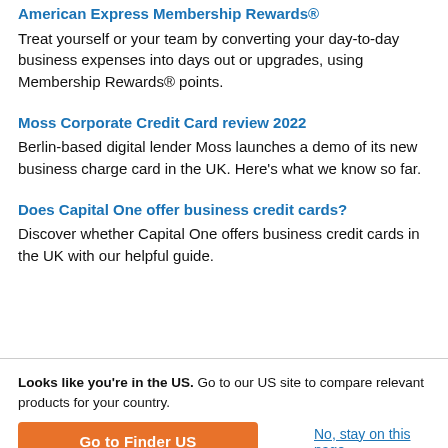American Express Membership Rewards®
Treat yourself or your team by converting your day-to-day business expenses into days out or upgrades, using Membership Rewards® points.
Moss Corporate Credit Card review 2022
Berlin-based digital lender Moss launches a demo of its new business charge card in the UK. Here's what we know so far.
Does Capital One offer business credit cards?
Discover whether Capital One offers business credit cards in the UK with our helpful guide.
Looks like you're in the US. Go to our US site to compare relevant products for your country.
Go to Finder US
No, stay on this page